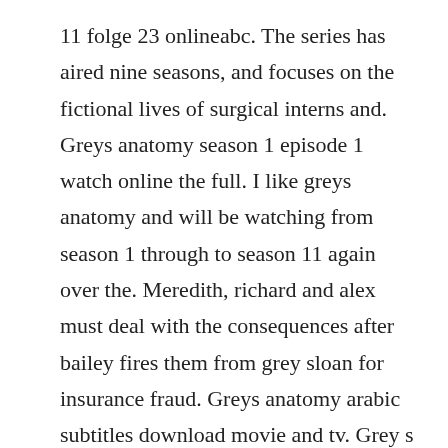11 folge 23 onlineabc. The series has aired nine seasons, and focuses on the fictional lives of surgical interns and. Greys anatomy season 1 episode 1 watch online the full. I like greys anatomy and will be watching from season 1 through to season 11 again over the. Meredith, richard and alex must deal with the consequences after bailey fires them from grey sloan for insurance fraud. Greys anatomy arabic subtitles download movie and tv. Grey s anatomy watch tv series with matching subtitles.